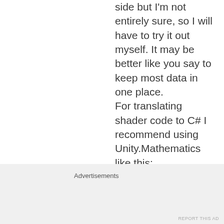side but I'm not entirely sure, so I will have to try it out myself. It may be better like you say to keep most data in one place.
For translating shader code to C# I recommend using Unity.Mathematics like this:
Advertisements